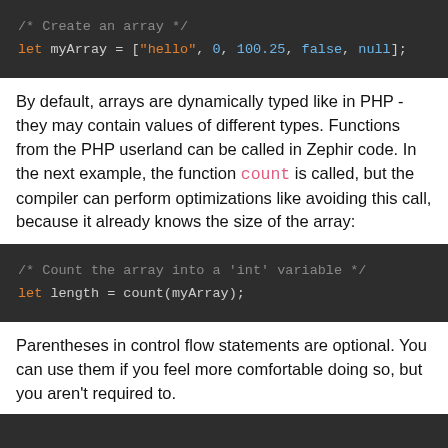[Figure (screenshot): Code block showing: /* Create an array */ let myArray = ["hello", 0, 100.25, false, null];]
By default, arrays are dynamically typed like in PHP - they may contain values of different types. Functions from the PHP userland can be called in Zephir code. In the next example, the function count is called, but the compiler can perform optimizations like avoiding this call, because it already knows the size of the array:
[Figure (screenshot): Code block showing: /* Count the array into a 'int' variable */ let length = count(myArray);]
Parentheses in control flow statements are optional. You can use them if you feel more comfortable doing so, but you aren't required to.
[Figure (screenshot): Bottom code block (partially visible)]